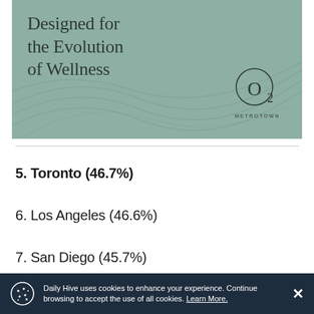[Figure (illustration): Advertisement for O2 Metrotown wellness development. Sage green background with decorative curved lines. Text reads 'Designed for the Evolution of Wellness' with O2 Metrotown logo (circle with subscript 2 and METROTOWN text below). Gold bar at top.]
5. Toronto (46.7%)
6. Los Angeles (46.6%)
7. San Diego (45.7%)
Daily Hive uses cookies to enhance your experience. Continue browsing to accept the use of all cookies. Learn More.